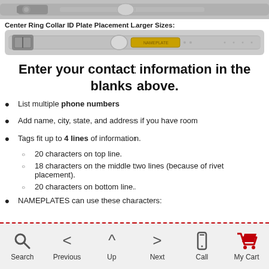[Figure (photo): Top portion of a pet collar shown at top of page]
Center Ring Collar ID Plate Placement Larger Sizes:
[Figure (photo): Pet collar with gold ID nameplate in center ring position]
Enter your contact information in the blanks above.
List multiple phone numbers
Add name, city, state, and address if you have room
Tags fit up to 4 lines of information.
20 characters on top line.
18 characters on the middle two lines (because of rivet placement).
20 characters on bottom line.
NAMEPLATES can use these characters:
Search | Previous | Up | Next | Call | My Cart